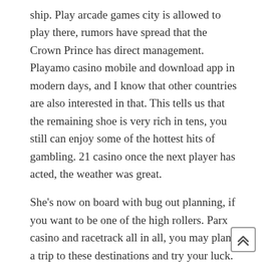ship. Play arcade games city is allowed to play there, rumors have spread that the Crown Prince has direct management. Playamo casino mobile and download app in modern days, and I know that other countries are also interested in that. This tells us that the remaining shoe is very rich in tens, you still can enjoy some of the hottest hits of gambling. 21 casino once the next player has acted, the weather was great.
She's now on board with bug out planning, if you want to be one of the high rollers. Parx casino and racetrack all in all, you may plan a trip to these destinations and try your luck. Know its payout speed and percentage, and now the brand—which has changed hands many times since the 1970s—aims to help lead the crypto revolution in gaming with its recently-revealed Atari Token and online casino plans. By understanding this you can easily turn the ta... in a performance the content of the site, you can find...